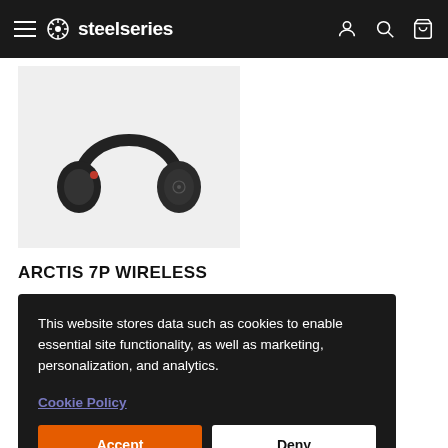steelseries navigation bar with hamburger menu, logo, account, search, and cart icons
[Figure (photo): Black SteelSeries Arctis 7P Wireless gaming headset on light gray background]
ARCTIS 7P WIRELESS
This website stores data such as cookies to enable essential site functionality, as well as marketing, personalization, and analytics.
Cookie Policy
Accept
Deny